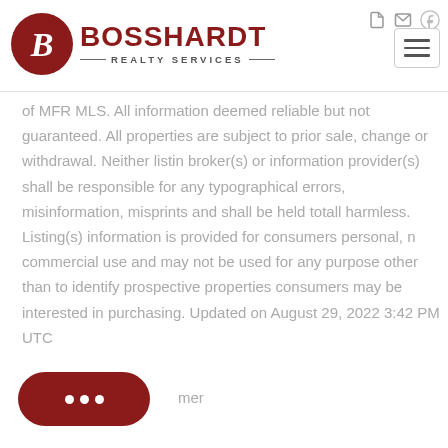Bosshardt Realty Services
of MFR MLS. All information deemed reliable but not guaranteed. All properties are subject to prior sale, change or withdrawal. Neither listing broker(s) or information provider(s) shall be responsible for any typographical errors, misinformation, misprints and shall be held totally harmless. Listing(s) information is provided for consumers personal, non-commercial use and may not be used for any purpose other than to identify prospective properties consumers may be interested in purchasing. Updated on August 29, 2022 3:42 PM UTC
mer